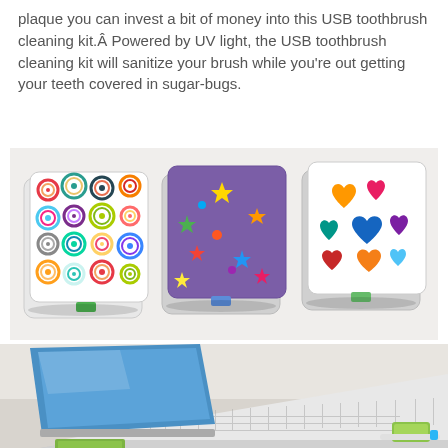plaque you can invest a bit of money into this USB toothbrush cleaning kit.Â Powered by UV light, the USB toothbrush cleaning kit will sanitize your brush while you're out getting your teeth covered in sugar-bugs.
[Figure (photo): Three USB toothbrush sanitizer/cleaning kit devices shown side by side. Left unit has a colorful concentric circles pattern on top. Middle unit has a purple background with multicolored star/flower shapes. Right unit has a white background with colorful heart shapes. All units are white plastic boxes with a small green USB port visible on the front.]
[Figure (photo): A white ASUS laptop/netbook shown from an angled perspective, with the screen open showing a blue desktop background. A white toothbrush and what appears to be the USB toothbrush cleaning kit are placed near the laptop's USB port. A green card/package is visible at the bottom.]